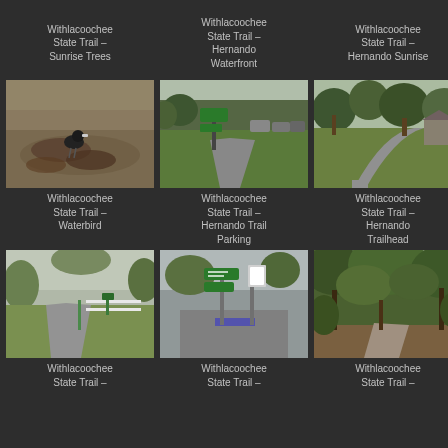Withlacoochee State Trail – Sunrise Trees
Withlacoochee State Trail – Hernando Waterfront
Withlacoochee State Trail – Hernando Sunrise
[Figure (photo): Bird (waterbird/coot) on muddy/sandy ground near water]
Withlacoochee State Trail – Waterbird
[Figure (photo): Paved trail with green signpost and grassy area, parking lot with vehicles in background]
Withlacoochee State Trail – Hernando Trail Parking
[Figure (photo): Curved paved path through trees, with a small building/shelter visible]
Withlacoochee State Trail – Hernando Trailhead
[Figure (photo): Paved trail with green fence and trees on both sides, overcast sky]
Withlacoochee State Trail
[Figure (photo): Green directional signs on posts at a trail intersection, with a crosswalk and parking area]
Withlacoochee State Trail
[Figure (photo): Paved trail curving through dense green trees and vegetation]
Withlacoochee State Trail